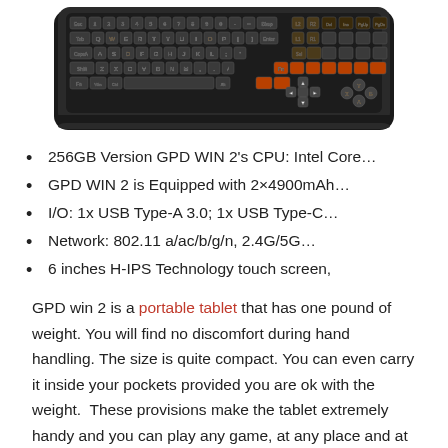[Figure (photo): Bottom portion of a GPD WIN 2 handheld gaming device showing the keyboard layout with QWERTY keys on a dark background.]
256GB Version GPD WIN 2's CPU: Intel Core…
GPD WIN 2 is Equipped with 2×4900mAh…
I/O: 1x USB Type-A 3.0; 1x USB Type-C…
Network: 802.11 a/ac/b/g/n, 2.4G/5G…
6 inches H-IPS Technology touch screen,
GPD win 2 is a portable tablet that has one pound of weight. You will find no discomfort during hand handling. The size is quite compact. You can even carry it inside your pockets provided you are ok with the weight.  These provisions make the tablet extremely handy and you can play any game, at any place and at any time.